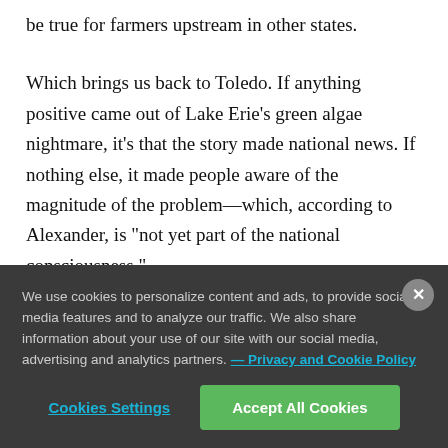be true for farmers upstream in other states.
Which brings us back to Toledo. If anything positive came out of Lake Erie's green algae nightmare, it's that the story made national news. If nothing else, it made people aware of the magnitude of the problem—which, according to Alexander, is "not yet part of the national consciousness."
We use cookies to personalize content and ads, to provide social media features and to analyze our traffic. We also share information about your use of our site with our social media, advertising and analytics partners. — Privacy and Cookie Policy
Cookies Settings
Accept All Cookies